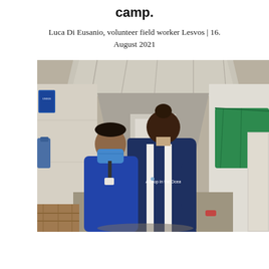camp.
Luca Di Eusanio, volunteer field worker Lesvos | 16. August 2021
[Figure (photo): Two people seen from behind walking through a narrow corridor between portable/prefab structures in a refugee camp. The person in the foreground wears a navy blue vest with 'A Drop in the Ocean' printed on the back. The person beside them wears a blue face mask. Clothes hang on the left, and green fabric hangs on the right. The corridor extends into the distance with a tarp overhead.]